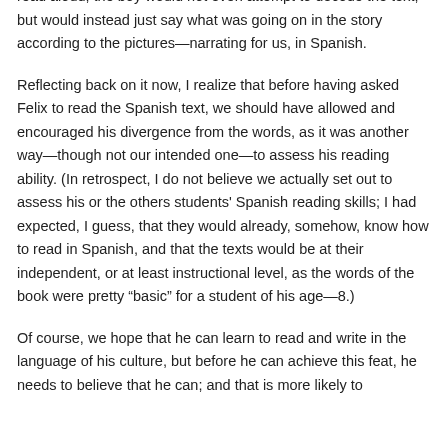book called Loco por las manzanas, upon coming to his turn to read aloud, the boy would not even attempt to decode the text, but would instead just say what was going on in the story according to the pictures—narrating for us, in Spanish.
Reflecting back on it now, I realize that before having asked Felix to read the Spanish text, we should have allowed and encouraged his divergence from the words, as it was another way—though not our intended one—to assess his reading ability. (In retrospect, I do not believe we actually set out to assess his or the others students' Spanish reading skills; I had expected, I guess, that they would already, somehow, know how to read in Spanish, and that the texts would be at their independent, or at least instructional level, as the words of the book were pretty “basic” for a student of his age—8.)
Of course, we hope that he can learn to read and write in the language of his culture, but before he can achieve this feat, he needs to believe that he can; and that is more likely to